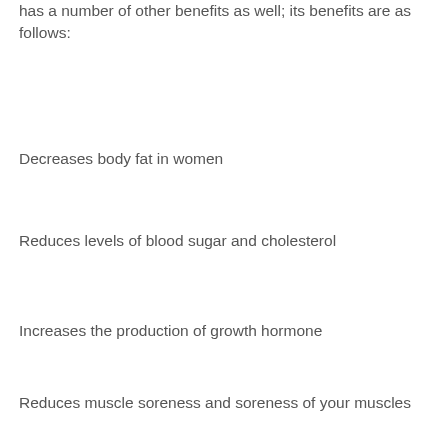has a number of other benefits as well; its benefits are as follows:
Decreases body fat in women
Reduces levels of blood sugar and cholesterol
Increases the production of growth hormone
Reduces muscle soreness and soreness of your muscles
Soothes nerves
Increases the production of sex hormones
Improves the quality of the sex life
Increases the blood flow to your entire body